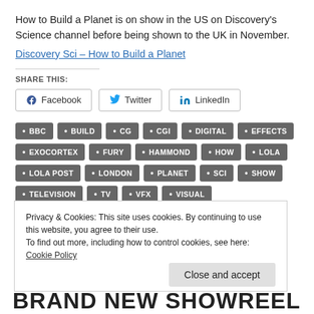How to Build a Planet is on show in the US on Discovery's Science channel before being shown to the UK in November.
Discovery Sci – How to Build a Planet
SHARE THIS:
[Figure (other): Social share buttons: Facebook, Twitter, LinkedIn]
BBC
BUILD
CG
CGI
DIGITAL
EFFECTS
EXOCORTEX
FURY
HAMMOND
HOW
LOLA
LOLA POST
LONDON
PLANET
SCI
SHOW
TELEVISION
TV
VFX
VISUAL
Privacy & Cookies: This site uses cookies. By continuing to use this website, you agree to their use. To find out more, including how to control cookies, see here: Cookie Policy
Close and accept
BRAND NEW SHOWREEL